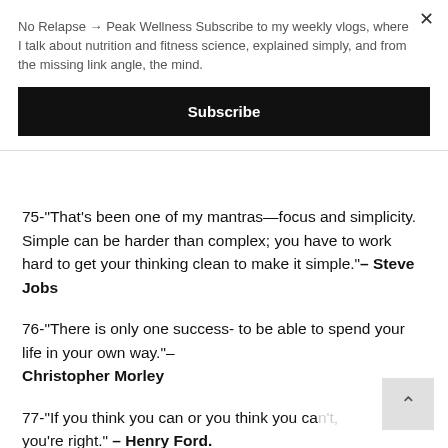No Relapse → Peak Wellness Subscribe to my weekly vlogs, where I talk about nutrition and fitness science, explained simply, and from the missing link angle, the mind.
Subscribe
75-"That's been one of my mantras—focus and simplicity. Simple can be harder than complex; you have to work hard to get your thinking clean to make it simple."– Steve Jobs
76-"There is only one success- to be able to spend your life in your own way."– Christopher Morley
77-"If you think you can or you think you can't, you're right." – Henry Ford.